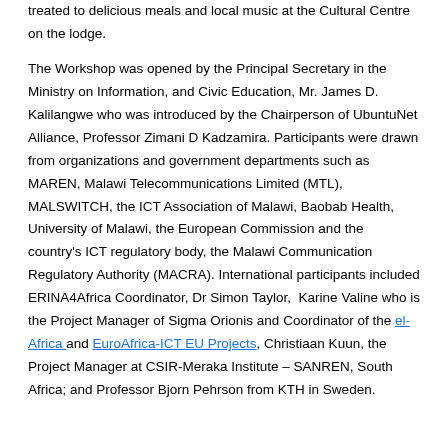treated to delicious meals and local music at the Cultural Centre on the lodge.
The Workshop was opened by the Principal Secretary in the Ministry on Information, and Civic Education, Mr. James D. Kalilangwe who was introduced by the Chairperson of UbuntuNet Alliance, Professor Zimani D Kadzamira. Participants were drawn from organizations and government departments such as MAREN, Malawi Telecommunications Limited (MTL), MALSWITCH, the ICT Association of Malawi, Baobab Health, University of Malawi, the European Commission and the country's ICT regulatory body, the Malawi Communication Regulatory Authority (MACRA). International participants included ERINA4Africa Coordinator, Dr Simon Taylor, Karine Valine who is the Project Manager of Sigma Orionis and Coordinator of the el-Africa and EuroAfrica-ICT EU Projects, Christiaan Kuun, the Project Manager at CSIR-Meraka Institute – SANREN, South Africa; and Professor Bjorn Pehrson from KTH in Sweden.